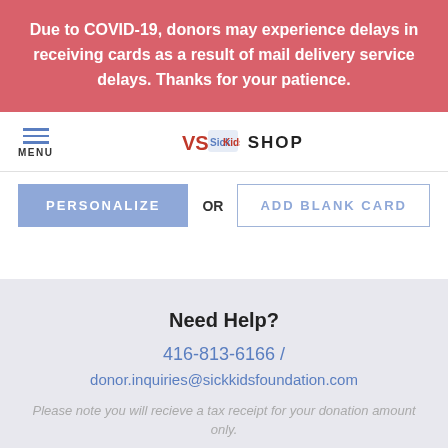Due to COVID-19, donors may experience delays in receiving cards as a result of mail delivery service delays. Thanks for your patience.
[Figure (screenshot): SickKids VS Shop navigation bar with hamburger menu icon and SickKids VS logo]
PERSONALIZE OR ADD BLANK CARD
Need Help?
416-813-6166 / donor.inquiries@sickkidsfoundation.com
Please note you will recieve a tax receipt for your donation amount only.